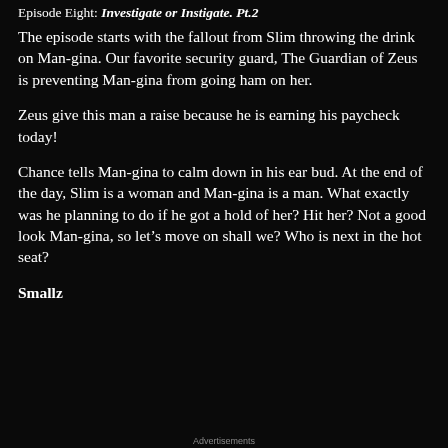Episode Eight: Investigate or Instigate. Pt.2
The episode starts with the fallout from Slim throwing the drink on Man-gina. Our favorite security guard, The Guardian of Zeus is preventing Man-gina from going ham on her.
Zeus give this man a raise because he is earning his paycheck today!
Chance tells Man-gina to calm down in his ear bud. At the end of the day, Slim is a woman and Man-gina is a man. What exactly was he planning to do if he got a hold of her? Hit her? Not a good look Man-gina, so let’s move on shall we? Who is next in the hot seat?
Smallz
Advertisements